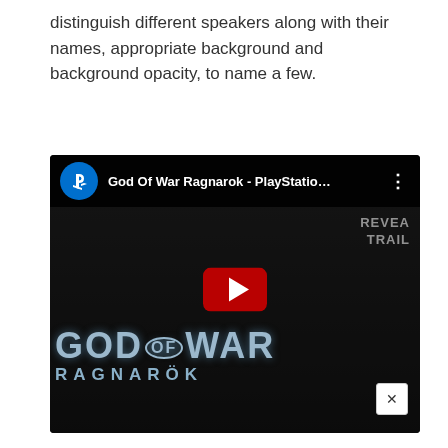distinguish different speakers along with their names, appropriate background and background opacity, to name a few.
[Figure (screenshot): YouTube video thumbnail/embed for 'God Of War Ragnarok - PlayStation...' showing a dark cinematic image of Kratos with the God of War Ragnarök logo, a red YouTube play button in the center, the PlayStation channel icon in the top-left, and a close button in the bottom-right corner. Text 'REVEAL TRAIL' partially visible in the top-right.]